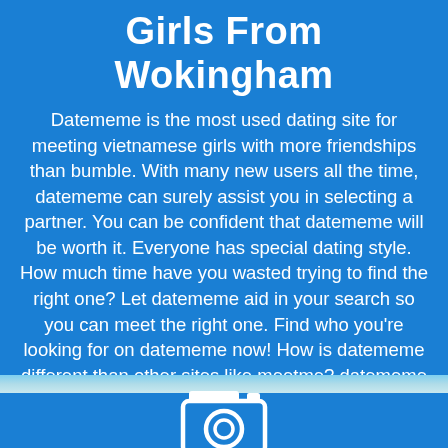Girls From Wokingham
Datememe is the most used dating site for meeting vietnamese girls with more friendships than bumble. With many new users all the time, datememe can surely assist you in selecting a partner. You can be confident that datememe will be worth it. Everyone has special dating style. How much time have you wasted trying to find the right one? Let datememe aid in your search so you can meet the right one. Find who you're looking for on datememe now! How is datememe different than other sites like meetme? datememe gives you the highest level of control over your dating experience. Datememe keeps your profile is accurate so you can find compatible vietnamese girls.
[Figure (illustration): Camera icon in white outline on blue background, representing photo/profile feature]